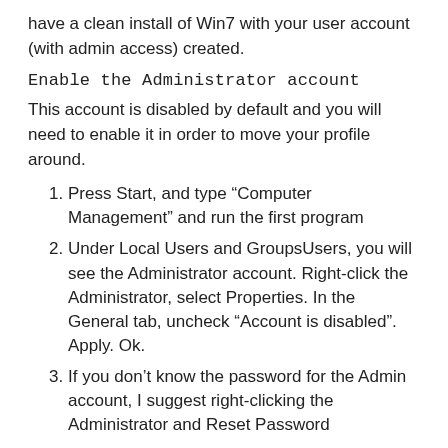have a clean install of Win7 with your user account (with admin access) created.
Enable the Administrator account
This account is disabled by default and you will need to enable it in order to move your profile around.
Press Start, and type “Computer Management” and run the first program
Under Local Users and GroupsUsers, you will see the Administrator account. Right-click the Administrator, select Properties. In the General tab, uncheck “Account is disabled”. Apply. Ok.
If you don’t know the password for the Admin account, I suggest right-clicking the Administrator and Reset Password
Log out of your current user account and log in as the Administrator